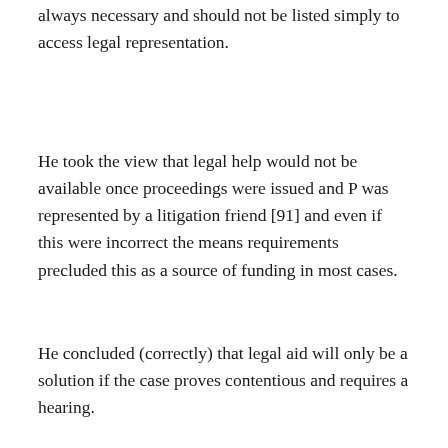always necessary and should not be listed simply to access legal representation.
He took the view that legal help would not be available once proceedings were issued and P was represented by a litigation friend [91] and even if this were incorrect the means requirements precluded this as a source of funding in most cases.
He concluded (correctly) that legal aid will only be a solution if the case proves contentious and requires a hearing.